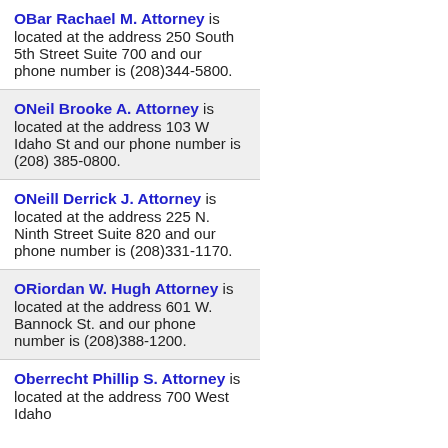OBar Rachael M. Attorney is located at the address 250 South 5th Street Suite 700 and our phone number is (208)344-5800.
ONeil Brooke A. Attorney is located at the address 103 W Idaho St and our phone number is (208) 385-0800.
ONeill Derrick J. Attorney is located at the address 225 N. Ninth Street Suite 820 and our phone number is (208)331-1170.
ORiordan W. Hugh Attorney is located at the address 601 W. Bannock St. and our phone number is (208)388-1200.
Oberrecht Phillip S. Attorney is located at the address 700 West Idaho...